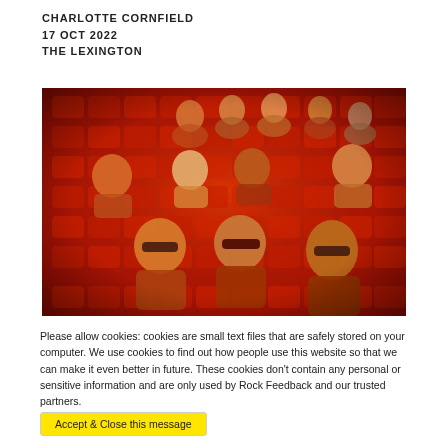CHARLOTTE CORNFIELD
17 OCT 2022
THE LEXINGTON
[Figure (photo): Group of people sitting in red theater seats, with a strong red color cast, several wearing sunglasses, arranged in rows]
Please allow cookies: cookies are small text files that are safely stored on your computer. We use cookies to find out how people use this website so that we can make it even better in future. These cookies don't contain any personal or sensitive information and are only used by Rock Feedback and our trusted partners.
Accept & Close this message